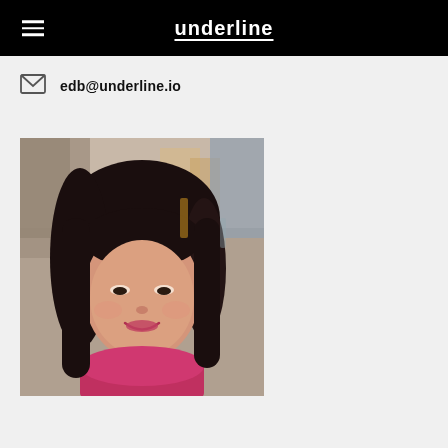underline
edb@underline.io
[Figure (photo): Headshot photo of a smiling Asian woman with dark hair, wearing a pink top, with a blurred urban street background]